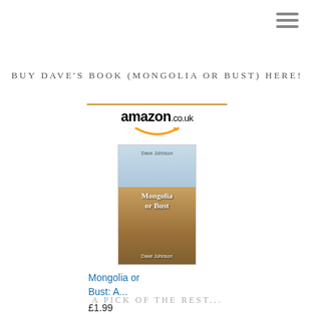[Figure (other): Hamburger menu icon (three horizontal lines) in top-right corner]
BUY DAVE'S BOOK (MONGOLIA OR BUST) HERE!
[Figure (other): Amazon.co.uk widget showing book 'Mongolia or Bust: A...' priced at £1.99 with a Shop now button. Includes Amazon logo with smile, book cover image, title link in blue, price, and golden Shop now button with Amazon 'a' icon.]
A PICK OF THE REST...